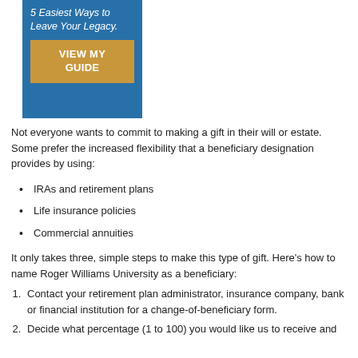[Figure (other): Blue promotional box with italic white text reading '5 Easiest Ways to Leave Your Legacy.' and a gold button labeled 'VIEW MY GUIDE']
Not everyone wants to commit to making a gift in their will or estate. Some prefer the increased flexibility that a beneficiary designation provides by using:
IRAs and retirement plans
Life insurance policies
Commercial annuities
It only takes three, simple steps to make this type of gift. Here's how to name Roger Williams University as a beneficiary:
1. Contact your retirement plan administrator, insurance company, bank or financial institution for a change-of-beneficiary form.
2. Decide what percentage (1 to 100) you would like us to receive and